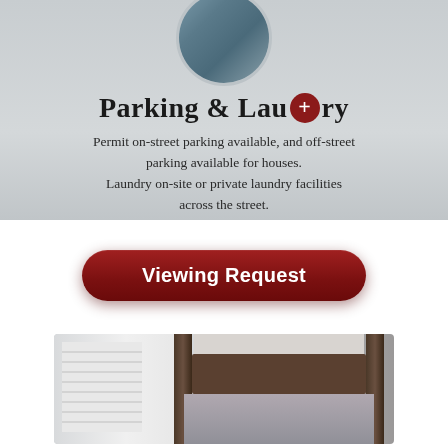[Figure (photo): Circular cropped photo of a person, partially visible, set against a gray background at the top of the section]
Parking & Laundry
Permit on-street parking available, and off-street parking available for houses.
Laundry on-site or private laundry facilities across the street.
[Figure (other): Dark red rounded button labeled 'Viewing Request']
[Figure (photo): Interior photo of a bedroom showing a wooden bunk bed or four-poster bed frame with a window with blinds on the left side]